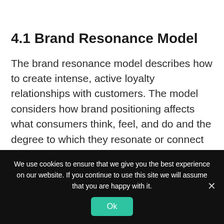4.1 Brand Resonance Model
The brand resonance model describes how to create intense, active loyalty relationships with customers. The model considers how brand positioning affects what consumers think, feel, and do and the degree to which they resonate or connect with a brand.
We use cookies to ensure that we give you the best experience on our website. If you continue to use this site we will assume that you are happy with it.